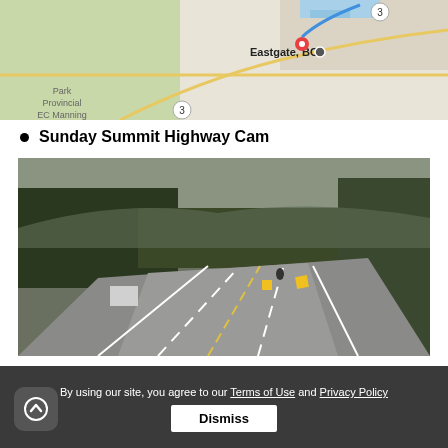[Figure (map): Google Maps screenshot showing Eastgate, BC with a red location pin and route 3 visible. EC Manning Provincial Park visible in bottom-left area.]
Sunday Summit Highway Cam
[Figure (photo): Highway camera photo showing a multi-lane highway (likely Highway 3) curving into the distance, flanked by conifer forest on both sides. Clear daytime conditions.]
By using our site, you agree to our Terms of Use and Privacy Policy
Dismiss